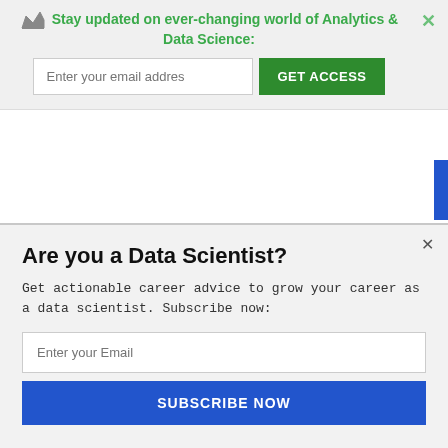Stay updated on ever-changing world of Analytics & Data Science:
[Figure (screenshot): Email input field with placeholder 'Enter your email addres' and a green 'GET ACCESS' button]
Are you a Data Scientist?
Get actionable career advice to grow your career as a data scientist. Subscribe now:
[Figure (screenshot): Email input field with placeholder 'Enter your Email' and a blue 'SUBSCRIBE NOW' button]